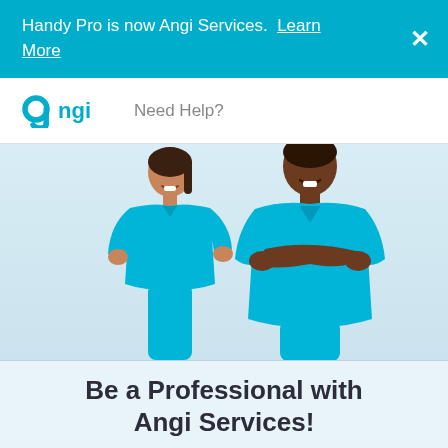Handy Pro is now Angi Services. Learn More ✕
[Figure (logo): Angi logo in teal/cyan color]
Need Help?
[Figure (photo): Two smiling professionals in teal polo shirts standing against a light blue background. A woman on the left with hand on hip and a man on the right with arms crossed.]
Be a Professional with Angi Services!
Gain access to hundreds of jobs in your city